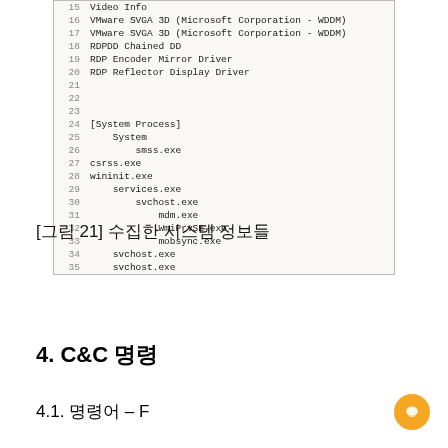[Figure (screenshot): Terminal/text output showing numbered lines 15-35 with system information including video drivers (VMware SVGA 3D, RDPDD, RDP Encoder Mirror Driver, RDP Reflector Display Driver) and a process tree ([System Process] > System > smss.exe, csrss.exe, wininit.exe > services.exe > svchost.exe > mdm.exe, WmiPrvSE.exe, mobsync.exe, svchost.exe, svchost.exe)]
[그림 21] 수집한 시스템 정보들
4. C&C 명령
4.1. 명령어 – F